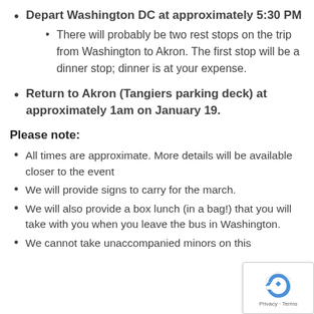Depart Washington DC at approximately 5:30 PM
There will probably be two rest stops on the trip from Washington to Akron. The first stop will be a dinner stop; dinner is at your expense.
Return to Akron (Tangiers parking deck) at approximately 1am on January 19.
Please note:
All times are approximate. More details will be available closer to the event
We will provide signs to carry for the march.
We will also provide a box lunch (in a bag!) that you will take with you when you leave the bus in Washington.
We cannot take unaccompanied minors on this